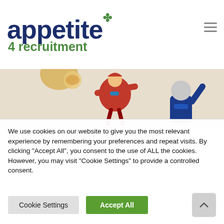[Figure (logo): Appetite 4 Recruitment logo with dark blue 'appetite' text, green shamrock symbol, and green '4 recruitment' text]
[Figure (illustration): Partial banner illustration showing cartoon characters including a person in a red outfit and a figure in a blue suit on a beige background]
Support from Appetite
We use cookies on our website to give you the most relevant experience by remembering your preferences and repeat visits. By clicking “Accept All”, you consent to the use of ALL the cookies. However, you may visit "Cookie Settings" to provide a controlled consent.
Cookie Settings
Accept All